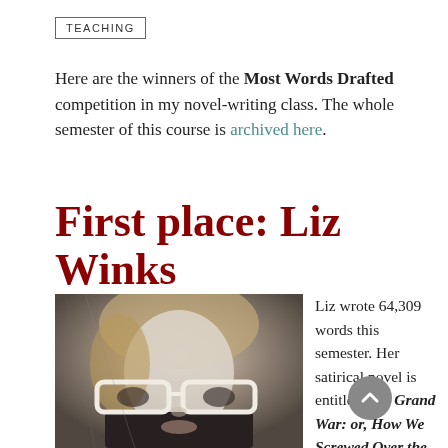TEACHING
Here are the winners of the Most Words Drafted competition in my novel-writing class. The whole semester of this course is archived here.
First place: Liz Winks
[Figure (photo): Black and white photo of Liz Winks, a young woman with short hair and white-framed glasses, looking at the camera]
Liz wrote 64,309 words this semester. Her satirical novel is entitled The Grand War: or, How We Screwed Over the World to Get What We